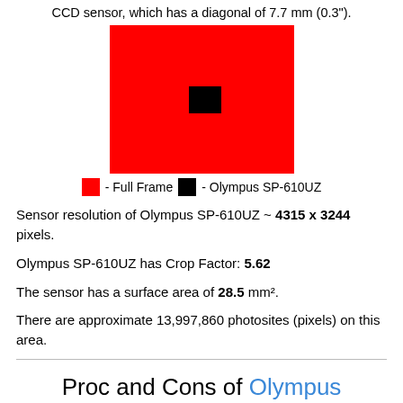CCD sensor, which has a diagonal of 7.7 mm (0.3").
[Figure (illustration): Red rectangle representing Full Frame sensor size with a small black rectangle in the center representing Olympus SP-610UZ sensor size, shown to scale for comparison.]
- Full Frame  - Olympus SP-610UZ
Sensor resolution of Olympus SP-610UZ ~ 4315 x 3244 pixels.
Olympus SP-610UZ has Crop Factor: 5.62
The sensor has a surface area of 28.5 mm².
There are approximate 13,997,860 photosites (pixels) on this area.
Proc and Cons of Olympus SP-610UZ